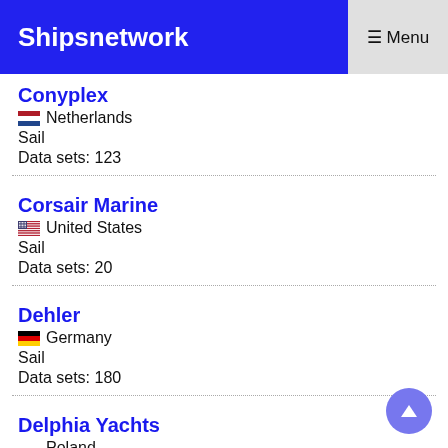Shipsnetwork  ☰ Menu
Conyplex
🇳🇱 Netherlands
Sail
Data sets: 123
Corsair Marine
🇺🇸 United States
Sail
Data sets: 20
Dehler
🇩🇪 Germany
Sail
Data sets: 180
Delphia Yachts
Poland
Sail / Motor